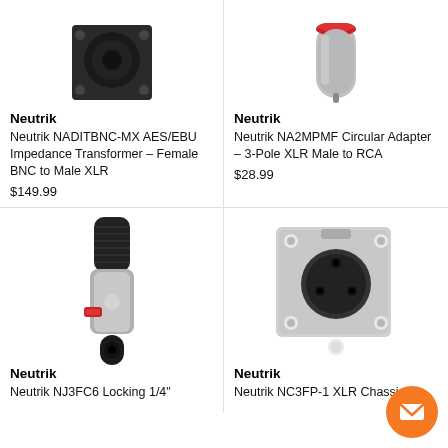[Figure (photo): Neutrik NADITBNC-MX AES/EBU Impedance Transformer - Female BNC to Male XLR connector, top portion visible]
[Figure (photo): Neutrik NA2MPMF Circular Adapter - 3-Pole XLR Male to RCA connector, top portion visible]
Neutrik
Neutrik NADITBNC-MX AES/EBU Impedance Transformer - Female BNC to Male XLR
$149.99
Neutrik
Neutrik NA2MPMF Circular Adapter - 3-Pole XLR Male to RCA
$28.99
[Figure (photo): Neutrik NJ3FC6 Locking 1/4 inch connector, silver and black with red latch]
[Figure (photo): Neutrik NC3FP-1 XLR Chassis connector, silver metal panel mount]
Neutrik
Neutrik NJ3FC6 Locking 1/4"
Neutrik
Neutrik NC3FP-1 XLR Chassis